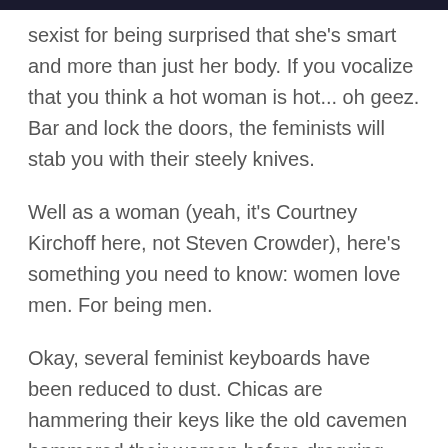sexist for being surprised that she's smart and more than just her body. If you vocalize that you think a hot woman is hot... oh geez. Bar and lock the doors, the feminists will stab you with their steely knives.
Well as a woman (yeah, it's Courtney Kirchoff here, not Steven Crowder), here's something you need to know: women love men. For being men.
Okay, several feminist keyboards have been reduced to dust. Chicas are hammering their keys like the old cavemen hammered their women before dragging them into the cave. Oh that right there?